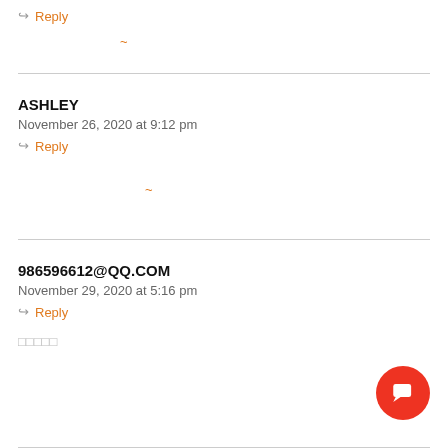↩ Reply
~
ASHLEY
November 26, 2020 at 9:12 pm
↩ Reply
~
986596612@QQ.COM
November 29, 2020 at 5:16 pm
↩ Reply
□□□□□